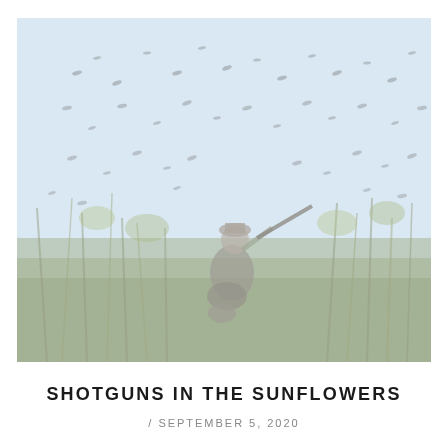[Figure (photo): A hunter kneeling in tall grass and sunflower fields, aiming a shotgun upward toward a large flock of birds flying against a light blue sky. The image is faded/washed out with a light blue-grey tint.]
SHOTGUNS IN THE SUNFLOWERS
/ SEPTEMBER 5, 2020